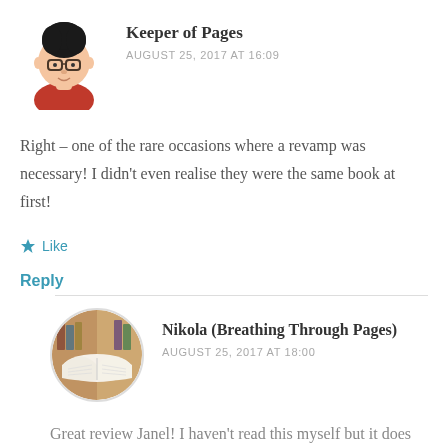[Figure (illustration): Circular avatar of a cartoon character with dark curly hair and glasses, wearing a red top]
Keeper of Pages
AUGUST 25, 2017 AT 16:09
Right – one of the rare occasions where a revamp was necessary! I didn't even realise they were the same book at first!
★ Like
Reply
[Figure (photo): Circular avatar showing an open book with colorful blurred background]
Nikola (Breathing Through Pages)
AUGUST 25, 2017 AT 18:00
Great review Janel! I haven't read this myself but it does seem strange that you started feeling